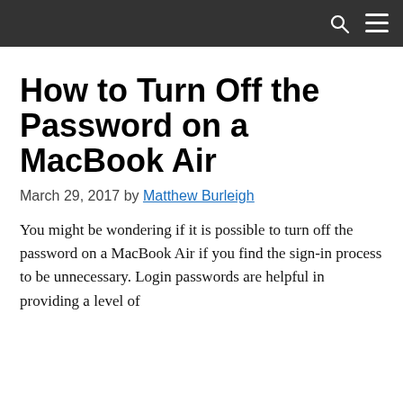Navigation bar with search and menu icons
How to Turn Off the Password on a MacBook Air
March 29, 2017 by Matthew Burleigh
You might be wondering if it is possible to turn off the password on a MacBook Air if you find the sign-in process to be unnecessary. Login passwords are helpful in providing a level of